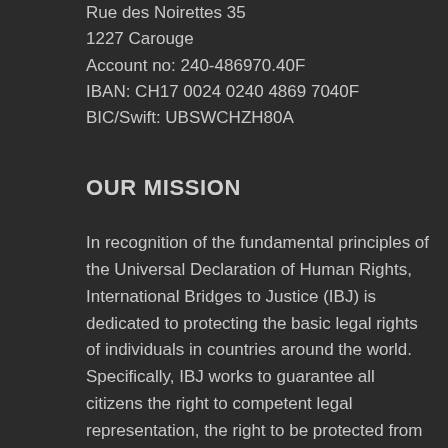Rue des Noirettes 35
1227 Carouge
Account no: 240-486970.40F
IBAN: CH17 0024 0240 4869 7040F
BIC/Swift: UBSWCHZH80A
OUR MISSION
In recognition of the fundamental principles of the Universal Declaration of Human Rights, International Bridges to Justice (IBJ) is dedicated to protecting the basic legal rights of individuals in countries around the world. Specifically, IBJ works to guarantee all citizens the right to competent legal representation, the right to be protected from cruel and unusual punishment, and the right to a